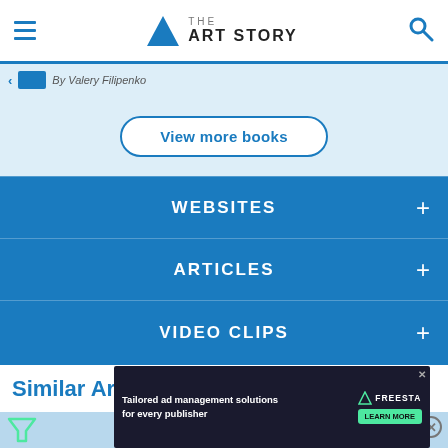THE ART STORY
By Valery Filipenko
View more books
WEBSITES
ARTICLES
VIDEO CLIPS
Similar Art
[Figure (screenshot): Advertisement banner: Tailored ad management solutions for every publisher – FREESTAR – LEARN MORE]
Tailored ad management solutions for every publisher